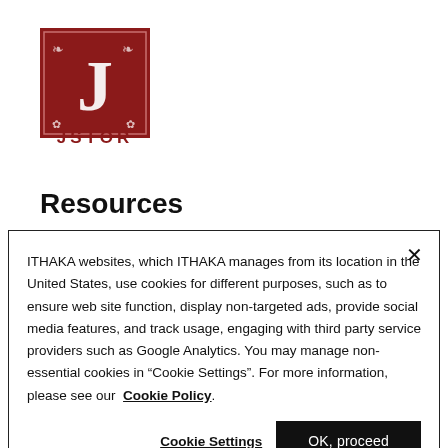[Figure (logo): JSTOR logo — red square with ornate white letter J, with the text JSTOR below in dark red bold letters]
Resources
ITHAKA websites, which ITHAKA manages from its location in the United States, use cookies for different purposes, such as to ensure web site function, display non-targeted ads, provide social media features, and track usage, engaging with third party service providers such as Google Analytics. You may manage non-essential cookies in “Cookie Settings”. For more information, please see our Cookie Policy.
Cookie Settings
OK, proceed